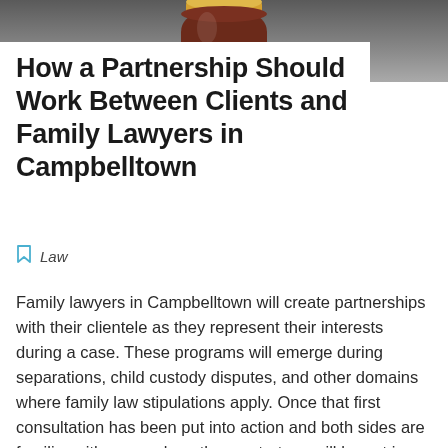[Figure (photo): Photo of a gavel or decorative jar with gold lid on a dark grey background]
How a Partnership Should Work Between Clients and Family Lawyers in Campbelltown
Law
Family lawyers in Campbelltown will create partnerships with their clientele as they represent their interests during a case. These programs will emerge during separations, child custody disputes, and other domains where family law stipulations apply. Once that first consultation has been put into action and both sides are familiar with one and another, a strategy will be put in place to achieve a quality outcome. As that plan rolls out, it is worthwhile